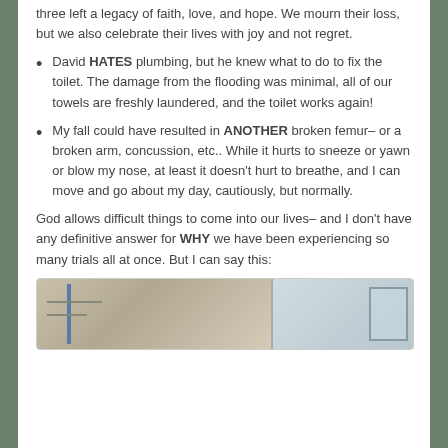three left a legacy of faith, love, and hope. We mourn their loss, but we also celebrate their lives with joy and not regret.
David HATES plumbing, but he knew what to do to fix the toilet. The damage from the flooding was minimal, all of our towels are freshly laundered, and the toilet works again!
My fall could have resulted in ANOTHER broken femur– or a broken arm, concussion, etc.. While it hurts to sneeze or yawn or blow my nose, at least it doesn't hurt to breathe, and I can move and go about my day, cautiously, but normally.
God allows difficult things to come into our lives– and I don't have any definitive answer for WHY we have been experiencing so many trials all at once. But I can say this:
[Figure (photo): A partial photograph showing what appears to be a room interior with a blue pole or post on the left side and a window frame visible on the right side.]